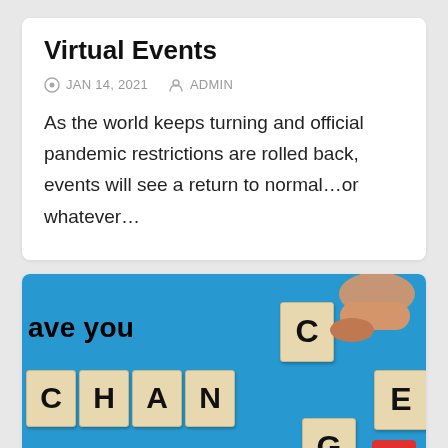Virtual Events
JAN 14, 2021   ADMIN
As the world keeps turning and official pandemic restrictions are rolled back, events will see a return to normal…or whatever…
[Figure (photo): Photo showing wooden Scrabble-like letter tiles spelling CHANGE on a blue wooden background, with a hand placing the letter C. Tiles visible: C, H, A, N, G, E. Text overlay reads 'ave you' (partial 'Have you'). A dashed white stripe runs along the bottom.]